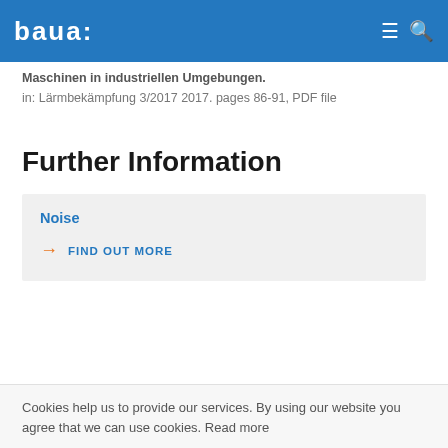baua:
Maschinen in industriellen Umgebungen.
in: Lärmbekämpfung 3/2017 2017. pages 86-91, PDF file
Further Information
Noise
→ FIND OUT MORE
Cookies help us to provide our services. By using our website you agree that we can use cookies. Read more